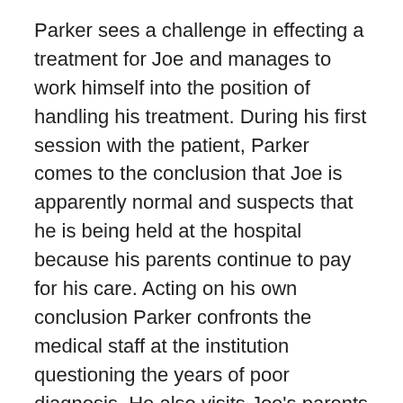Parker sees a challenge in effecting a treatment for Joe and manages to work himself into the position of handling his treatment. During his first session with the patient, Parker comes to the conclusion that Joe is apparently normal and suspects that he is being held at the hospital because his parents continue to pay for his care. Acting on his own conclusion Parker confronts the medical staff at the institution questioning the years of poor diagnosis. He also visits Joe's parents and with the help of the mother, completes an inspection of the house, and particularly the boy's bedroom.
Parker's findings provide an answer to the reason Joe has been diagnosed as mentally ill. DeWitt's description of the cause introduces a unique answer that certainly delves deeply into a nightmare world and makes the ending as gripping as can be. A short book but certainly one that